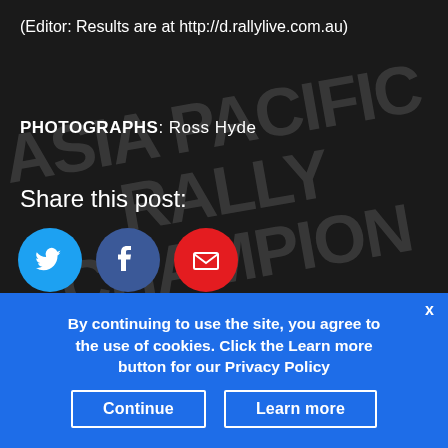(Editor: Results are at http://d.rallylive.com.au)
PHOTOGRAPHS: Ross Hyde
Share this post:
[Figure (infographic): Three social share buttons: Twitter (blue circle with bird icon), Facebook (dark blue circle with f icon), Email (red circle with envelope icon)]
‹ APRC Junior Cup leader faces challenges of
By continuing to use the site, you agree to the use of cookies. Click the Learn more button for our Privacy Policy
Continue
Learn more